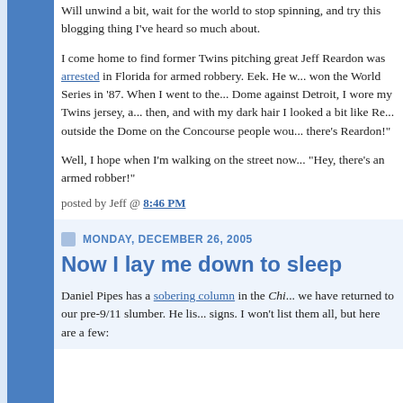Will unwind a bit, wait for the world to stop spinning, and try this blogging thing I've heard so much about.
I come home to find former Twins pitching great Jeff Reardon was arrested in Florida for armed robbery. Eek. He was on the team that won the World Series in '87. When I went to the World Series at the Dome against Detroit, I wore my Twins jersey, and Reardon was pitching then, and with my dark hair I looked a bit like Reardon. Walking outside the Dome on the Concourse people would point and say 'Hey, there's Reardon!'
Well, I hope when I'm walking on the street now people don't say 'Hey, there's an armed robber!'
posted by Jeff @ 8:46 PM
MONDAY, DECEMBER 26, 2005
Now I lay me down to sleep
Daniel Pipes has a sobering column in the Chi... we have returned to our pre-9/11 slumber. He lists signs. I won't list them all, but here are a few: